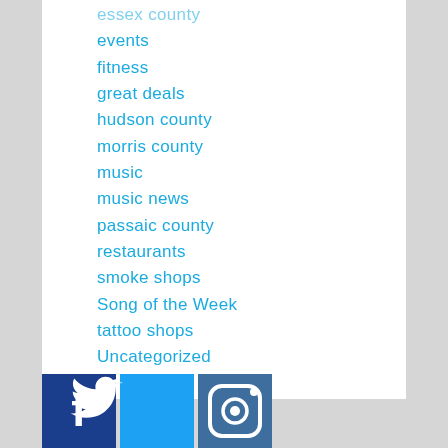essex county
events
fitness
great deals
hudson county
morris county
music
music news
passaic county
restaurants
smoke shops
Song of the Week
tattoo shops
Uncategorized
[Figure (illustration): Social media icons: Facebook (blue), Twitter (light blue), Instagram (blue-grey)]